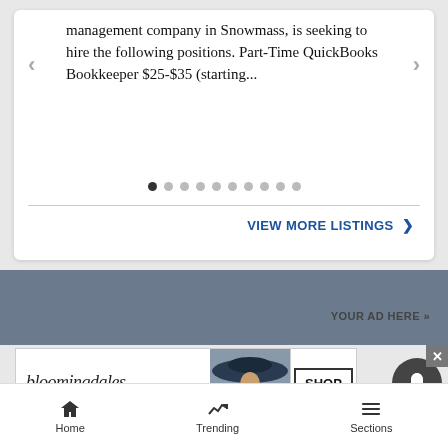management company in Snowmass, is seeking to hire the following positions. Part-Time QuickBooks Bookkeeper $25-$35 (starting...
[Figure (screenshot): Carousel dot indicators — 10 dots, first one filled/active]
VIEW MORE LISTINGS ❯
YOUR AD HERE »
[Figure (photo): Bloomingdale's advertisement banner: 'bloomingdales View Today's Top Deals!' with woman wearing large hat and SHOP NOW > button]
Home  Trending  Sections